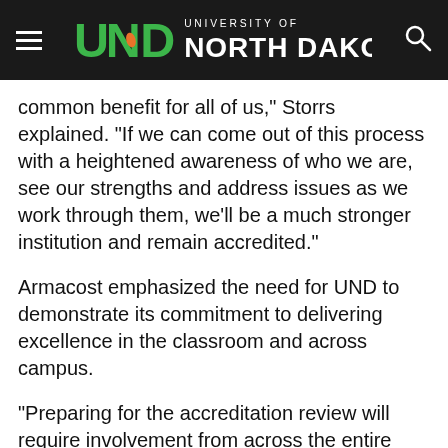University of North Dakota
common benefit for all of us," Storrs explained. "If we can come out of this process with a heightened awareness of who we are, see our strengths and address issues as we work through them, we'll be a much stronger institution and remain accredited."
Armacost emphasized the need for UND to demonstrate its commitment to delivering excellence in the classroom and across campus.
“Preparing for the accreditation review will require involvement from across the entire campus,” he said. “This is not only about our academic programs, but how we, as a complete and connected institution, deliver our mission to provide learning, discovery, and community engagement opportunities for developing tomorrow’s leaders."